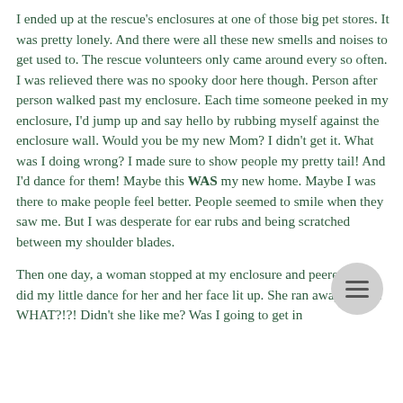I ended up at the rescue's enclosures at one of those big pet stores. It was pretty lonely. And there were all these new smells and noises to get used to. The rescue volunteers only came around every so often. I was relieved there was no spooky door here though. Person after person walked past my enclosure. Each time someone peeked in my enclosure, I'd jump up and say hello by rubbing myself against the enclosure wall. Would you be my new Mom? I didn't get it. What was I doing wrong? I made sure to show people my pretty tail! And I'd dance for them! Maybe this WAS my new home. Maybe I was there to make people feel better. People seemed to smile when they saw me. But I was desperate for ear rubs and being scratched between my shoulder blades.

Then one day, a woman stopped at my enclosure and peered in. I did my little dance for her and her face lit up. She ran away. Wait?! WHAT?!?! Didn't she like me? Was I going to get in